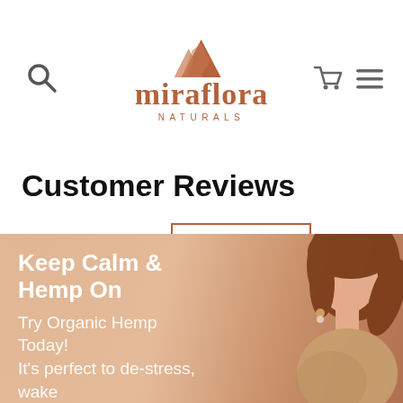miraflora NATURALS
Customer Reviews
Based on 5 reviews
Write a review
[Figure (illustration): Promotional banner with woman with red hair in ponytail, warm sunset tones background. Text: Keep Calm & Hemp On. Try Organic Hemp Today! It's perfect to de-stress, wake...]
Keep Calm & Hemp On
Try Organic Hemp Today!
It's perfect to de-stress, wake